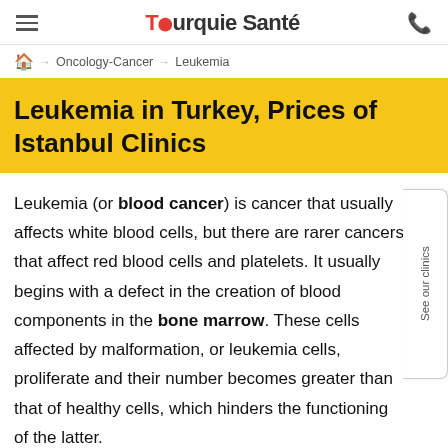Turquie Santé
→ Oncology-Cancer → Leukemia
Leukemia in Turkey, Prices of Istanbul Clinics
Leukemia (or blood cancer) is cancer that usually affects white blood cells, but there are rarer cancers that affect red blood cells and platelets. It usually begins with a defect in the creation of blood components in the bone marrow. These cells affected by malformation, or leukemia cells, proliferate and their number becomes greater than that of healthy cells, which hinders the functioning of the latter.
See our clinics
👁 12 people are viewing this
By continuing to visit Turquie Santé, you agree to our use of cookies. More infos